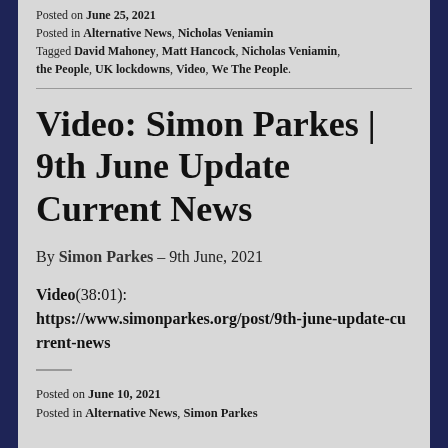Posted on June 25, 2021
Posted in Alternative News, Nicholas Veniamin
Tagged David Mahoney, Matt Hancock, Nicholas Veniamin, the People, UK lockdowns, Video, We The People.
Video: Simon Parkes | 9th June Update Current News
By Simon Parkes – 9th June, 2021
Video(38:01):
https://www.simonparkes.org/post/9th-june-update-current-news
Posted on June 10, 2021
Posted in Alternative News, Simon Parkes